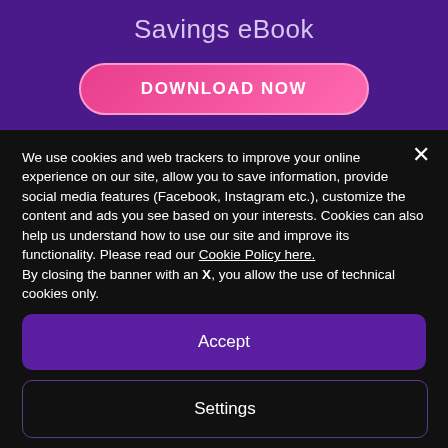Savings eBook
DOWNLOAD NOW
We use cookies and web trackers to improve your online experience on our site, allow you to save information, provide social media features (Facebook, Instagram etc.), customize the content and ads you see based on your interests. Cookies can also help us understand how to use our site and improve its functionality. Please read our Cookie Policy here.
By closing the banner with an X, you allow the use of technical cookies only.
Accept
Settings